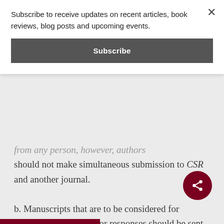Subscribe to receive updates on recent articles, book reviews, blog posts and upcoming events.
Subscribe
from any person, however, authors should not make simultaneous submission to CSR and another journal.
b. Manuscripts that are to be considered for publication as articles or responses should be sent to the editor (Don W. King) with the author’s name deleted and in